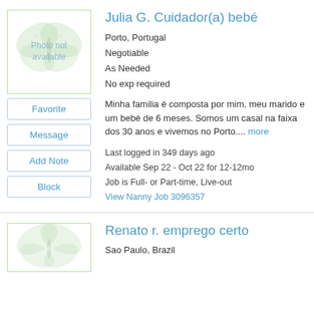[Figure (illustration): Photo not available placeholder with butterfly watermark]
Julia G. Cuidador(a) bebé
Porto, Portugal
Negotiable
As Needed
No exp required
Minha familia é composta por mim, meu marido e um bebé de 6 meses. Somos um casal na faixa dos 30 anos e vivemos no Porto.... more
Last logged in 349 days ago
Available Sep 22 - Oct 22 for 12-12mo
Job is Full- or Part-time, Live-out
View Nanny Job 3096357
[Figure (illustration): Photo not available placeholder with butterfly watermark (second listing)]
Renato r. emprego certo
Sao Paulo, Brazil